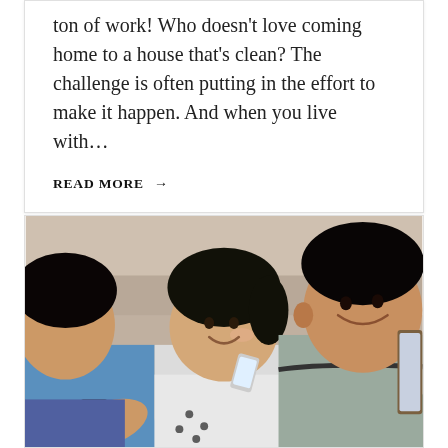ton of work! Who doesn't love coming home to a house that's clean? The challenge is often putting in the effort to make it happen. And when you live with…
READ MORE →
[Figure (photo): A smiling Asian man and a young toddler girl sitting on a couch, both looking at a smartphone the girl is holding. A third person in a blue shirt is partially visible on the left also holding a phone. The man on the right appears to be holding a tablet.]